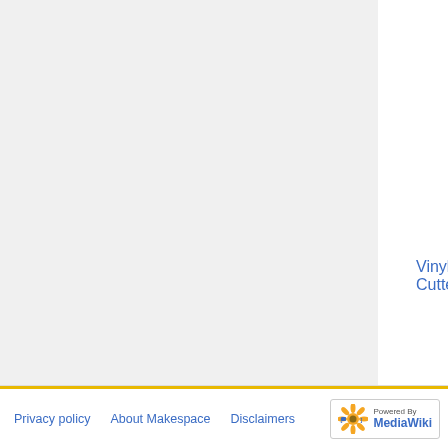[Figure (bar-chart): Partial bar chart showing orange and green bars for equipment items including Vinyl Cutter++ and T-Shirt Heat Press++]
Vinyl Cutter++
T-Shirt Heat Press++
Marked * = Red labelled equipment: you need to be inducted before use of this equipment. Marked ++ = Orange labelled equipment: use with caution, but you do not need to be trained (you do need to be an inducted keyfob holding Makespace member)
Privacy policy | About Makespace | Disclaimers | Powered by MediaWiki